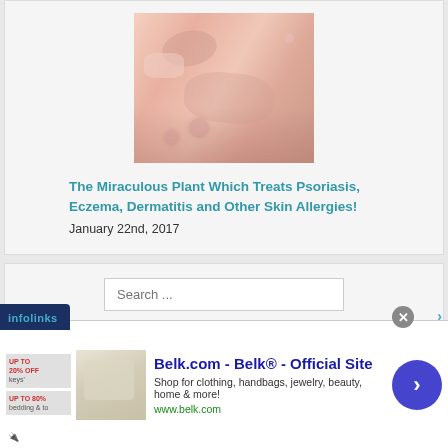[Figure (photo): Close-up photo of skin showing psoriasis or eczema condition with scaly, reddish patches on fingers]
The Miraculous Plant Which Treats Psoriasis, Eczema, Dermatitis and Other Skin Allergies!
January 22nd, 2017
[Figure (screenshot): Search box with placeholder text 'Search ...']
Recent Posts
11 Natural And Traditional Rituals To Cleanse Your Home Of Negative
[Figure (infographic): Advertisement banner: Belk.com - Belk® - Official Site. Shop for clothing, handbags, jewelry, beauty, home & more! www.belk.com. Infolinks badge overlay.]